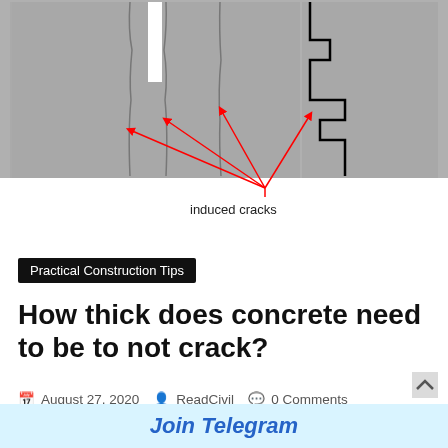[Figure (illustration): Diagram showing induced cracks in concrete cross-sections. Three vertical panels on gray background: left panel shows two narrow crack lines with a white rod/dowel between them and red arrows pointing to the cracks; center panel shows a similar crack; right panel shows a stylized step-shaped crack profile outlined in black. Red arrows from a central point label the cracks.]
induced cracks
Practical Construction Tips
How thick does concrete need to be to not crack?
August 27, 2020   ReadCivil   0 Comments
Concrete always cracks. Well, that’s not quite true in practice, but it’s definitely true in principle. Concrete, when used as
Join Telegram